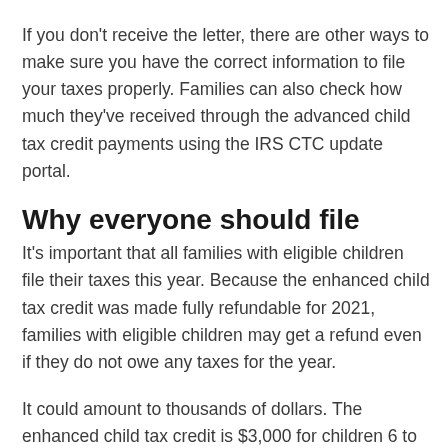If you don't receive the letter, there are other ways to make sure you have the correct information to file your taxes properly. Families can also check how much they've received through the advanced child tax credit payments using the IRS CTC update portal.
Why everyone should file
It's important that all families with eligible children file their taxes this year. Because the enhanced child tax credit was made fully refundable for 2021, families with eligible children may get a refund even if they do not owe any taxes for the year.
It could amount to thousands of dollars. The enhanced child tax credit is $3,000 for children 6 to 17 and $3,600 for those under the age of 6 in 2021 for those receiving the full credit.